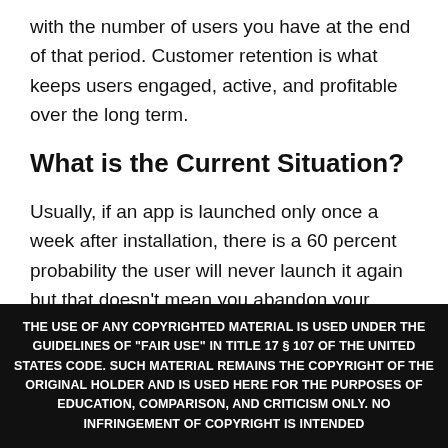with the number of users you have at the end of that period. Customer retention is what keeps users engaged, active, and profitable over the long term.
What is the Current Situation?
Usually, if an app is launched only once a week after installation, there is a 60 percent probability the user will never launch it again but that doesn't mean you abandon your mobile app development
THE USE OF ANY COPYRIGHTED MATERIAL IS USED UNDER THE GUIDELINES OF "FAIR USE" IN TITLE 17 § 107 OF THE UNITED STATES CODE. SUCH MATERIAL REMAINS THE COPYRIGHT OF THE ORIGINAL HOLDER AND IS USED HERE FOR THE PURPOSES OF EDUCATION, COMPARISON, AND CRITICISM ONLY. NO INFRINGEMENT OF COPYRIGHT IS INTENDED